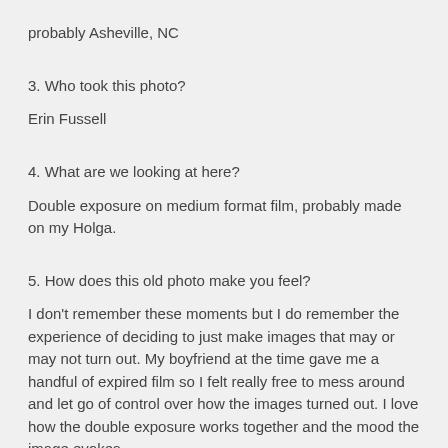probably Asheville, NC
3. Who took this photo?
Erin Fussell
4. What are we looking at here?
Double exposure on medium format film, probably made on my Holga.
5. How does this old photo make you feel?
I don't remember these moments but I do remember the experience of deciding to just make images that may or may not turn out. My boyfriend at the time gave me a handful of expired film so I felt really free to mess around and let go of control over how the images turned out. I love how the double exposure works together and the mood the image evokes.